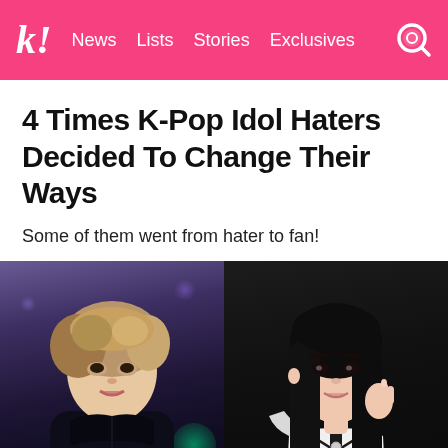k! News Lists Stories Exclusives
4 Times K-Pop Idol Haters Decided To Change Their Ways
Some of them went from hater to fan!
[Figure (photo): Two K-pop idols side by side: on the left, a male idol with blonde/brown tousled hair wearing a dark jacket, shot against a blurred purple/blue bokeh background with green bokeh circles; on the right, a female idol with long dark hair wearing a white top with black ribbon detail, shot against a dark background.]